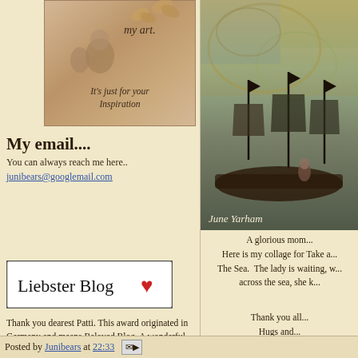[Figure (illustration): Vintage sepia-toned art image with two children and butterflies, text 'my art.' and 'It's just for your Inspiration']
My email....
You can always reach me here..
junibears@googlemail.com
[Figure (illustration): Liebster Blog badge with red heart on white background with black border]
Thank you dearest Patti. This award originated in Germany and means Beloved Blog. A wonderful word! I too have so many beloved blogs that I love and follow but
[Figure (illustration): Colorful collage artwork of sailing ships with signature 'June Yarham' at bottom]
A glorious mom... Here is my collage for Take a... The Sea. The lady is waiting, w... across the sea, she k...
Thank you all... Hugs and... June
Posted by Junibears at 22:33